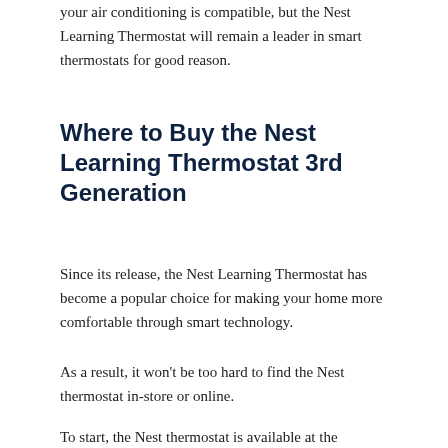your air conditioning is compatible, but the Nest Learning Thermostat will remain a leader in smart thermostats for good reason.
Where to Buy the Nest Learning Thermostat 3rd Generation
Since its release, the Nest Learning Thermostat has become a popular choice for making your home more comfortable through smart technology.
As a result, it won't be too hard to find the Nest thermostat in-store or online.
To start, the Nest thermostat is available at the